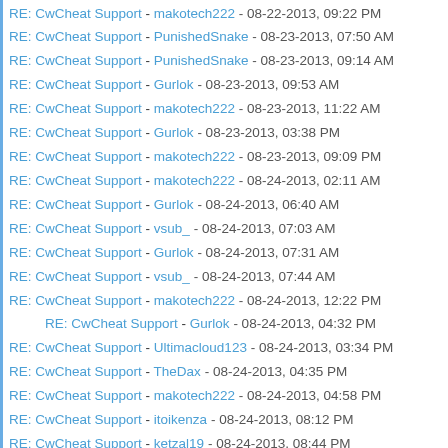RE: CwCheat Support - makotech222 - 08-22-2013, 09:22 PM
RE: CwCheat Support - PunishedSnake - 08-23-2013, 07:50 AM
RE: CwCheat Support - PunishedSnake - 08-23-2013, 09:14 AM
RE: CwCheat Support - Gurlok - 08-23-2013, 09:53 AM
RE: CwCheat Support - makotech222 - 08-23-2013, 11:22 AM
RE: CwCheat Support - Gurlok - 08-23-2013, 03:38 PM
RE: CwCheat Support - makotech222 - 08-23-2013, 09:09 PM
RE: CwCheat Support - makotech222 - 08-24-2013, 02:11 AM
RE: CwCheat Support - Gurlok - 08-24-2013, 06:40 AM
RE: CwCheat Support - vsub_ - 08-24-2013, 07:03 AM
RE: CwCheat Support - Gurlok - 08-24-2013, 07:31 AM
RE: CwCheat Support - vsub_ - 08-24-2013, 07:44 AM
RE: CwCheat Support - makotech222 - 08-24-2013, 12:22 PM
RE: CwCheat Support - Gurlok - 08-24-2013, 04:32 PM (indented)
RE: CwCheat Support - Ultimacloud123 - 08-24-2013, 03:34 PM
RE: CwCheat Support - TheDax - 08-24-2013, 04:35 PM
RE: CwCheat Support - makotech222 - 08-24-2013, 04:58 PM
RE: CwCheat Support - itoikenza - 08-24-2013, 08:12 PM
RE: CwCheat Support - ketzal19 - 08-24-2013, 08:44 PM
RE: CwCheat Support - makotech222 - 08-25-2013, 08:38 PM
RE: CwCheat Support - netraiderx - 08-25-2013, 08:45 PM
RE: CwCheat Support - makotech222 - 08-25-2013, 09:14 PM
RE: CwCheat Support - itoikenza - 08-25-2013, 10:31 PM (indented)
RE: CwCheat Support - djpecchia - 08-26-2013, 12:27 AM
RE: CwCheat Support - makotech222 - 08-26-2013, 01:08 AM